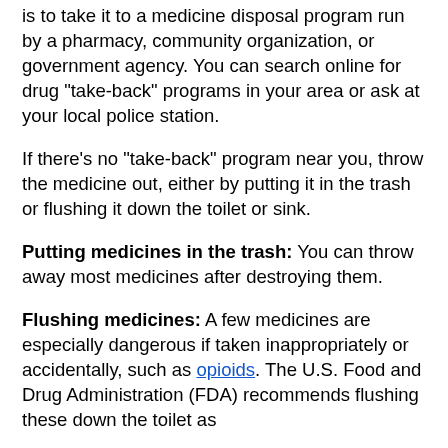is to take it to a medicine disposal program run by a pharmacy, community organization, or government agency. You can search online for drug "take-back" programs in your area or ask at your local police station.
If there's no "take-back" program near you, throw the medicine out, either by putting it in the trash or flushing it down the toilet or sink.
Putting medicines in the trash: You can throw away most medicines after destroying them.
Flushing medicines: A few medicines are especially dangerous if taken inappropriately or accidentally, such as opioids. The U.S. Food and Drug Administration (FDA) recommends flushing these down the toilet as